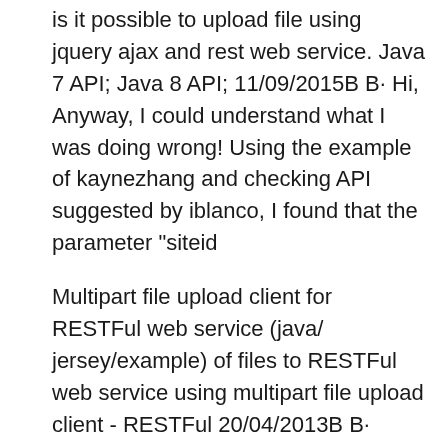is it possible to upload file using jquery ajax and rest web service. Java 7 API; Java 8 API; 11/09/2015B B· Hi, Anyway, I could understand what I was doing wrong! Using the example of kaynezhang and checking API suggested by iblanco, I found that the parameter "siteid
Multipart file upload client for RESTFul web service (java/ jersey/example) of files to RESTFul web service using multipart file upload client - RESTFul 20/04/2013B B· Uploading Files Using the REST API and Client Side The following downloadable source code contains a working example of uploading files over REST.
In previous posts, we learned about file downloading and building RESTful clients. Now